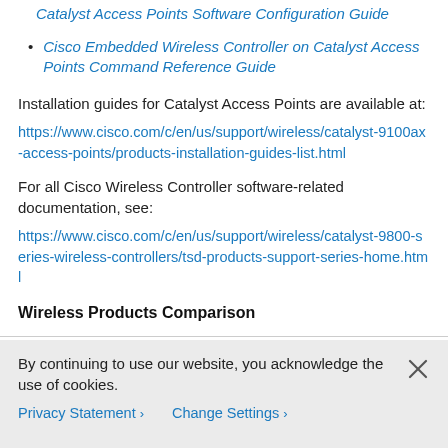Catalyst Access Points Software Configuration Guide
Cisco Embedded Wireless Controller on Catalyst Access Points Command Reference Guide
Installation guides for Catalyst Access Points are available at:
https://www.cisco.com/c/en/us/support/wireless/catalyst-9100ax-access-points/products-installation-guides-list.html
For all Cisco Wireless Controller software-related documentation, see:
https://www.cisco.com/c/en/us/support/wireless/catalyst-9800-series-wireless-controllers/tsd-products-support-series-home.html
Wireless Products Comparison
By continuing to use our website, you acknowledge the use of cookies.
Privacy Statement > Change Settings >